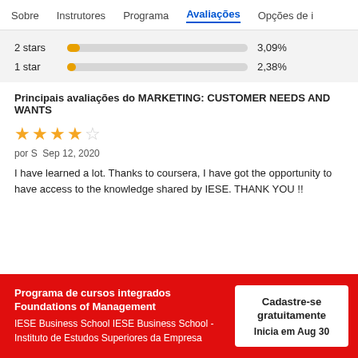Sobre  Instrutores  Programa  Avaliações  Opções de i
[Figure (bar-chart): Star ratings distribution]
Principais avaliações do MARKETING: CUSTOMER NEEDS AND WANTS
por S  Sep 12, 2020
I have learned a lot. Thanks to coursera, I have got the opportunity to have access to the knowledge shared by IESE. THANK YOU !!
Programa de cursos integrados Foundations of Management
IESE Business School IESE Business School - Instituto de Estudos Superiores da Empresa
Cadastre-se gratuitamente
Inicia em Aug 30